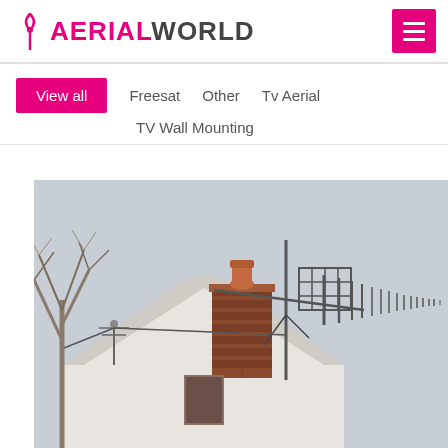AERIAL WORLD
View all
Freesat
Other
Tv Aerial
TV Wall Mounting
[Figure (photo): A TV antenna/aerial mounted on a pole above a rooftop with a brick chimney, bare winter tree in background, overcast sky]